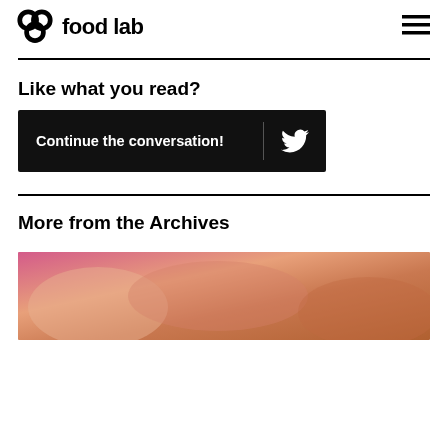clover food lab
Like what you read?
Continue the conversation!
More from the Archives
[Figure (photo): Partial photo of food items, colorful background with pink and warm tones]